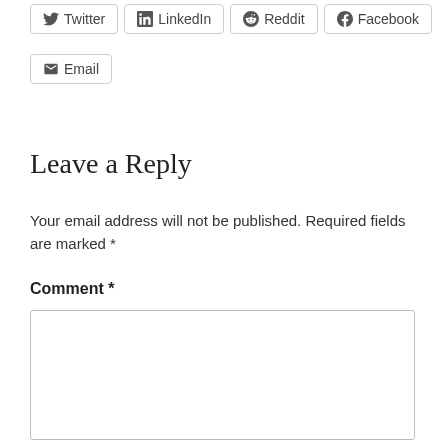Twitter  LinkedIn  Reddit  Facebook  Email (share buttons)
Leave a Reply
Your email address will not be published. Required fields are marked *
Comment *
[Figure (other): Empty comment text area input box]